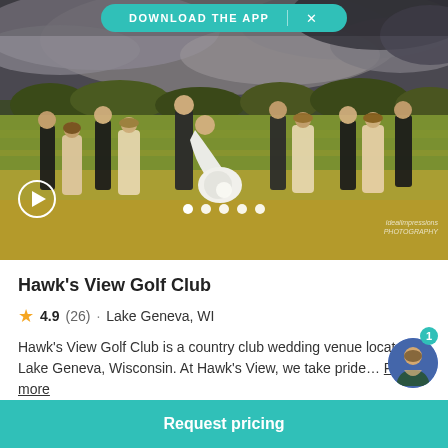[Figure (screenshot): Download the App button bar at top of screen with teal rounded button and X close icon]
[Figure (photo): Wedding party photo at Hawk's View Golf Club: bride and groom dipping on a grassy field with bridal party, dramatic cloudy sky, idealimpressions photography watermark]
Hawk's View Golf Club
4.9 (26) · Lake Geneva, WI
Hawk's View Golf Club is a country club wedding venue located in Lake Geneva, Wisconsin. At Hawk's View, we take pride… Read more
1 deal
Request pricing